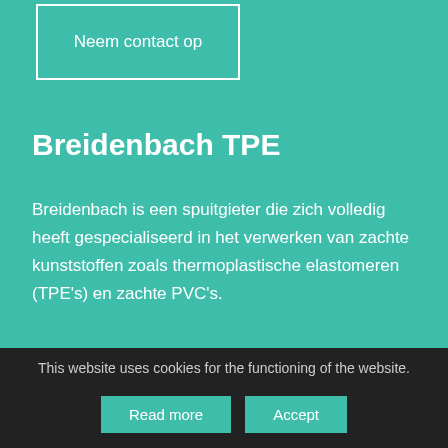Neem contact op
Breidenbach TPE
Breidenbach is een spuitgieter die zich volledig heeft gespecialiseerd in het verwerken van zachte kunststoffen zoals thermoplastische elastomeren (TPE's) en zachte PVC's.
This website uses cookies for the functioning of the website.
Read more
Accept